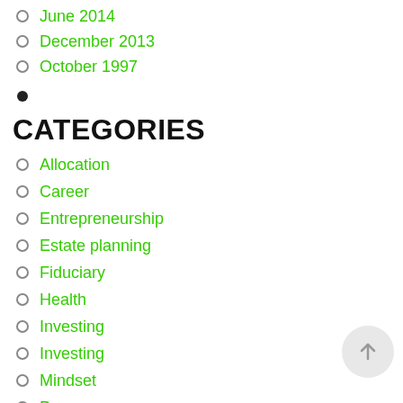June 2014
December 2013
October 1997
CATEGORIES
Allocation
Career
Entrepreneurship
Estate planning
Fiduciary
Health
Investing
Investing
Mindset
Press
Retirement
Success